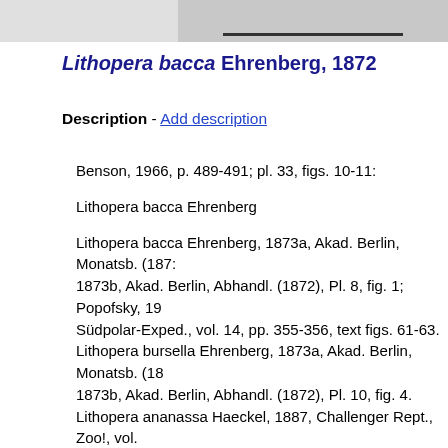[Figure (photo): Partial photograph of a radiolarian specimen, cropped at top. A horizontal scale bar is visible near the bottom of the image.]
Lithopera bacca Ehrenberg, 1872
Description - Add description
Benson, 1966, p. 489-491; pl. 33, figs. 10-11:
Lithopera bacca Ehrenberg
Lithopera bacca Ehrenberg, 1873a, Akad. Berlin, Monatsb. (1872), 1873b, Akad. Berlin, Abhandl. (1872), Pl. 8, fig. 1; Popofsky, 19 Südpolar-Exped., vol. 14, pp. 355-356, text figs. 61-63. Lithopera bursella Ehrenberg, 1873a, Akad. Berlin, Monatsb. (18 1873b, Akad. Berlin, Abhandl. (1872), Pl. 10, fig. 4. Lithopera ananassa Haeckel, 1887, Challenger Rept., Zoo!, vol. 57, fig. 3.
Test consisting of a spherical, generally rough cephalis which is within a broad, cylindrical to ovate thorax with a rounded closed cephalis small, equal, polygonal to subcircular, hexagonally arra by polygonal frames, in a few tests infilled with silica. A long s